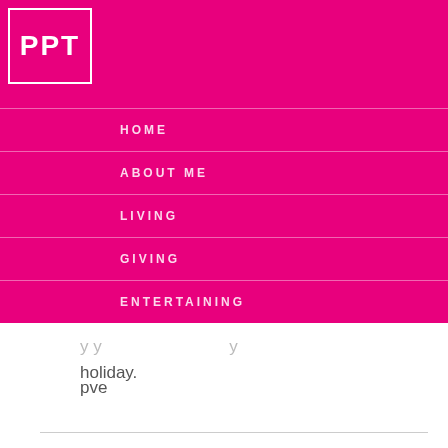PPT
HOME
ABOUT ME
LIVING
GIVING
ENTERTAINING
holiday.
pve
Fashion-isha says
December 20, 2010 at 8:48